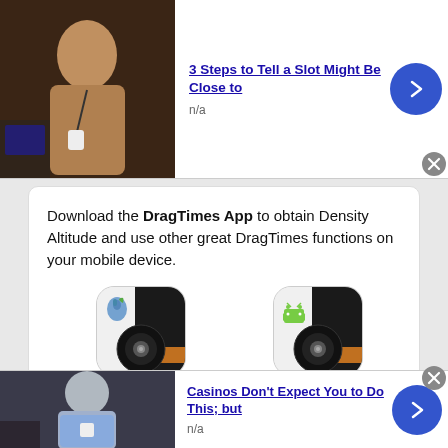[Figure (screenshot): Top advertisement banner with thumbnail photo of person, title '3 Steps to Tell a Slot Might Be Close to', subtitle 'n/a', blue arrow button, and close button]
Download the DragTimes App to obtain Density Altitude and use other great DragTimes functions on your mobile device.
[Figure (illustration): Two app store icons side by side - left shows iPhone/iPod/iPad DragTimes app icon, right shows Android DragTimes app icon, with red underlined labels below each]
[Figure (screenshot): Bottom advertisement banner with thumbnail photo of person in blue shirt, title 'Casinos Don't Expect You to Do This; but', subtitle 'n/a', blue arrow button, and close button]